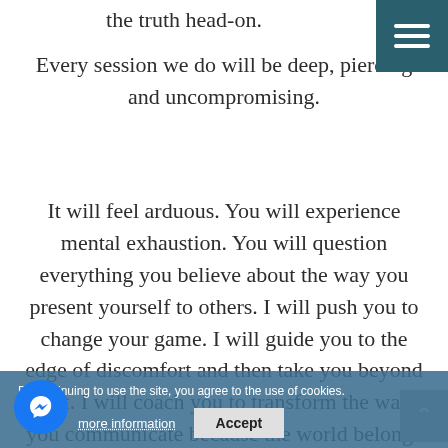the truth head-on.
Every session we do will be deep, piercing and uncompromising.
It will feel arduous. You will experience mental exhaustion. You will question everything you believe about the way you present yourself to others. I will push you to change your game. I will guide you to the edge of discomfort and then take you beyond that. I will coach you to transform the way you communicate because the world belongs to the great communicators, and your career success depends on it.
By continuing to use the site, you agree to the use of cookies. more information  Accept